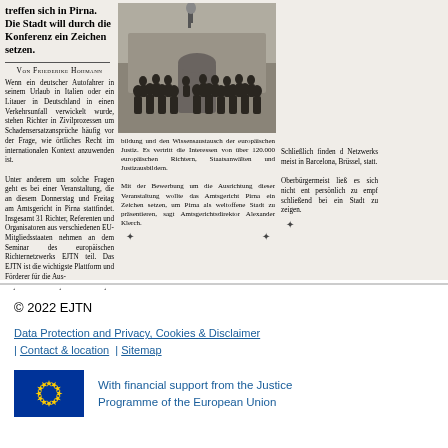treffen sich in Pirna. Die Stadt will durch die Konferenz ein Zeichen setzen.
VON FRIEDERIKE HOHMANN
Wenn ein deutscher Autofahrer in seinem Urlaub in Italien oder ein Litauer in Deutschland in einen Verkehrsunfall verwickelt wurde, stehen Richter in Zivilprozessen um Schadensersatzansprüche häufig vor der Frage, wie örtliches Recht im internationalen Kontext anzuwenden ist.

Unter anderem um solche Fragen geht es bei einer Veranstaltung, die an diesem Donnerstag und Freitag am Amtsgericht in Pirna stattfindet. Insgesamt 31 Richter, Referenten und Organisatoren aus verschiedenen EU-Mitgliedsstaaten nehmen an dem Seminar des europäischen Richternetzwerks EJTN teil. Das EJTN ist die wichtigste Plattform und Förderer für die Aus-
[Figure (photo): Group photo of approximately 30 people standing in front of a building entrance]
bildung und den Wissensaustausch der europäischen Justiz. Es vertritt die Interessen von über 120.000 europäischen Richtern, Staatsanwälten und Justizausbildern.

Mit der Bewerbung um die Ausrichtung dieser Veranstaltung wollte das Amtsgericht Pirna ein Zeichen setzen, um Pirna als weltoffene Stadt zu präsentieren, sagt Amtsgerichtsdirektor Alexander Klerch.
Schließlich finden die Netzwerks meist in Barcelona, Brüssel, statt.

Oberbürgermeist ließ es sich nicht ent persönlich zu empf schließend bei ein Stadt zu zeigen.
© 2022 EJTN
Data Protection and Privacy, Cookies & Disclaimer | Contact & location | Sitemap
With financial support from the Justice Programme of the European Union